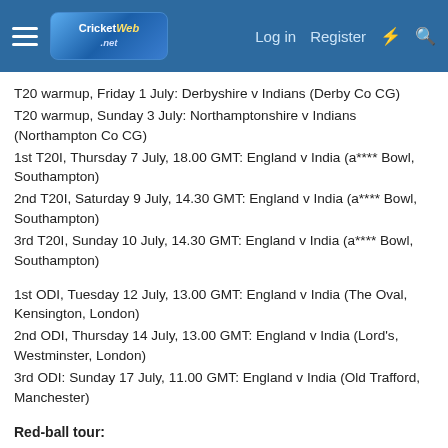CricketWeb.net — Log in | Register
T20 warmup, Friday 1 July: Derbyshire v Indians (Derby Co CG)
T20 warmup, Sunday 3 July: Northamptonshire v Indians (Northampton Co CG)
1st T20I, Thursday 7 July, 18.00 GMT: England v India (a**** Bowl, Southampton)
2nd T20I, Saturday 9 July, 14.30 GMT: England v India (a**** Bowl, Southampton)
3rd T20I, Sunday 10 July, 14.30 GMT: England v India (a**** Bowl, Southampton)
1st ODI, Tuesday 12 July, 13.00 GMT: England v India (The Oval, Kensington, London)
2nd ODI, Thursday 14 July, 13.00 GMT: England v India (Lord's, Westminster, London)
3rd ODI: Sunday 17 July, 11.00 GMT: England v India (Old Trafford, Manchester)
Red-ball tour: